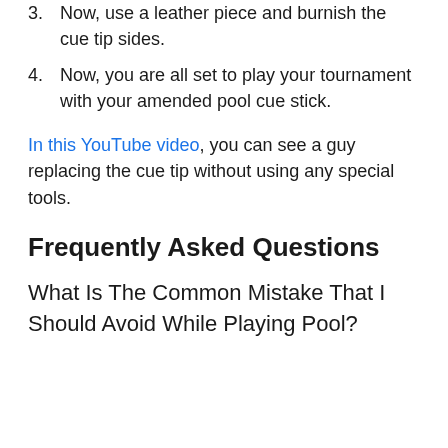3. Now, use a leather piece and burnish the cue tip sides.
4. Now, you are all set to play your tournament with your amended pool cue stick.
In this YouTube video, you can see a guy replacing the cue tip without using any special tools.
Frequently Asked Questions
What Is The Common Mistake That I Should Avoid While Playing Pool?